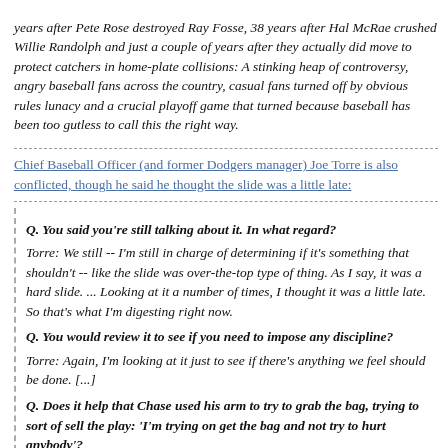years after Pete Rose destroyed Ray Fosse, 38 years after Hal McRae crushed Willie Randolph and just a couple of years after they actually did move to protect catchers in home-plate collisions: A stinking heap of controversy, angry baseball fans across the country, casual fans turned off by obvious rules lunacy and a crucial playoff game that turned because baseball has been too gutless to call this the right way.
Chief Baseball Officer (and former Dodgers manager) Joe Torre is also conflicted, though he said he thought the slide was a little late:
Q. You said you're still talking about it. In what regard?
Torre: We still -- I'm still in charge of determining if it's something that shouldn't -- like the slide was over-the-top type of thing. As I say, it was a hard slide. ... Looking at it a number of times, I thought it was a little late. So that's what I'm digesting right now.
Q. You would review it to see if you need to impose any discipline?
Torre: Again, I'm looking at it just to see if there's anything we feel should be done. [...]
Q. Does it help that Chase used his arm to try to grab the bag, trying to sort of sell the play: 'I'm trying on get the bag and not try to hurt anybody'?